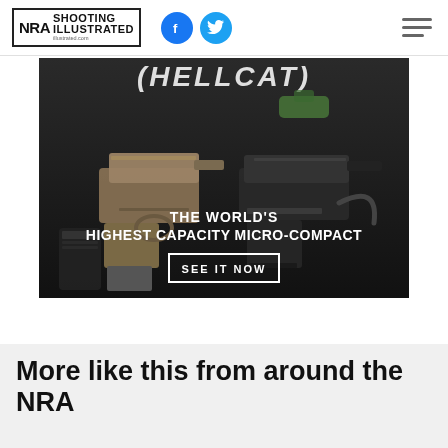NRA Shooting Illustrated
[Figure (photo): Advertisement for a micro-compact pistol showing two handguns on a dark background with text: '(HELLCAT) THE WORLD'S HIGHEST CAPACITY MICRO-COMPACT' and a 'SEE IT NOW' button]
More like this from around the NRA